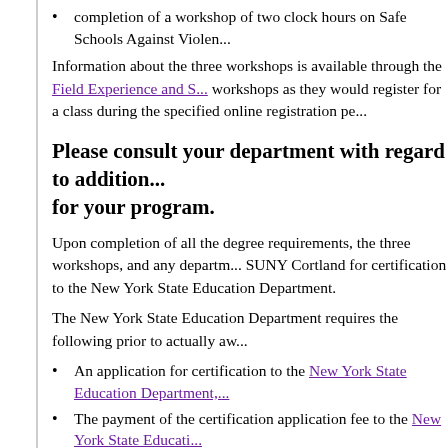completion of a workshop of two clock hours on Safe Schools Against Violen...
Information about the three workshops is available through the Field Experience and S... workshops as they would register for a class during the specified online registration pe...
Please consult your department with regard to addition... for your program.
Upon completion of all the degree requirements, the three workshops, and any departm... SUNY Cortland for certification to the New York State Education Department.
The New York State Education Department requires the following prior to actually aw...
An application for certification to the New York State Education Department,...
The payment of the certification application fee to the New York State Educati...
A criminal background check and fingerprinting. Information about fingerprin...
Passing scores on the Academic Literacy Skills Test (ALST), Educating All St... (CST) for the certificate and the edTPA.
Information about registration for the NYSTCE is available at Career Services.
Criteria for Admission to the Teacher Education Program
Please consult this catalog or the appropriate academic department for admission...